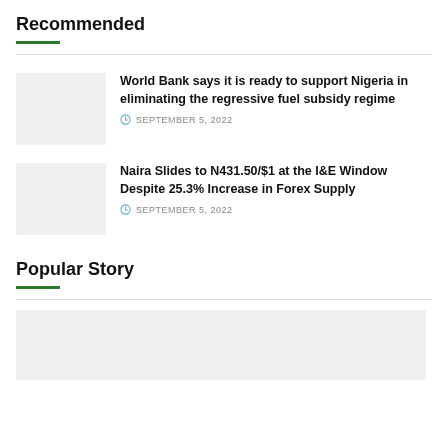Recommended
World Bank says it is ready to support Nigeria in eliminating the regressive fuel subsidy regime
SEPTEMBER 5, 2022
Naira Slides to N431.50/$1 at the I&E Window Despite 25.3% Increase in Forex Supply
SEPTEMBER 5, 2022
Popular Story
[Figure (photo): Article thumbnail image placeholder]